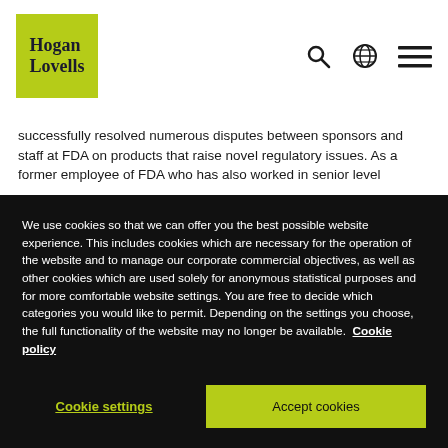[Figure (logo): Hogan Lovells logo — yellow-green square with serif text 'Hogan Lovells']
successfully resolved numerous disputes between sponsors and staff at FDA on products that raise novel regulatory issues. As a former employee of FDA who has also worked in senior level...
We use cookies so that we can offer you the best possible website experience. This includes cookies which are necessary for the operation of the website and to manage our corporate commercial objectives, as well as other cookies which are used solely for anonymous statistical purposes and for more comfortable website settings. You are free to decide which categories you would like to permit. Depending on the settings you choose, the full functionality of the website may no longer be available. Cookie policy
Cookie settings
Accept cookies